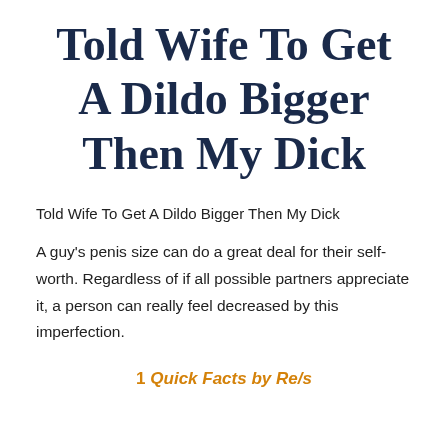Told Wife To Get A Dildo Bigger Then My Dick
Told Wife To Get A Dildo Bigger Then My Dick
A guy's penis size can do a great deal for their self-worth. Regardless of if all possible partners appreciate it, a person can really feel decreased by this imperfection.
1 Quick Facts by Re/s...